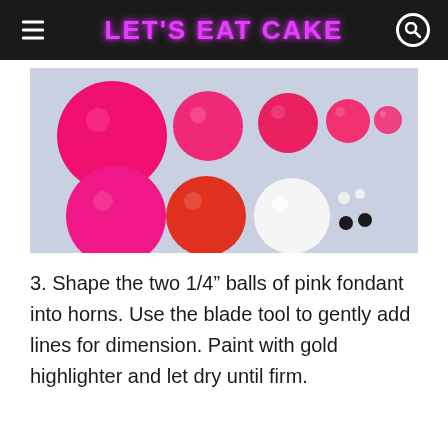LET'S EAT CAKE
[Figure (photo): Fondant balls of various sizes and colors arranged on a light blue background: large pink balls, medium red ball, white ball, and tiny white and black balls for eyes/decoration]
3. Shape the two 1/4” balls of pink fondant into horns. Use the blade tool to gently add lines for dimension. Paint with gold highlighter and let dry until firm.